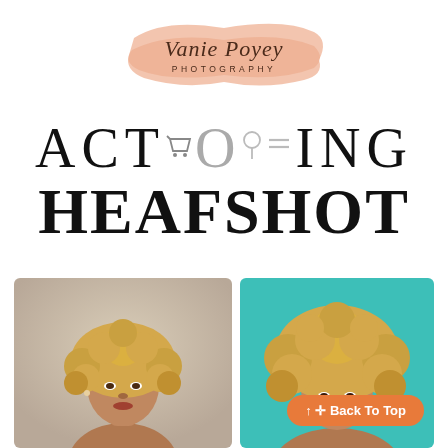[Figure (logo): Vanie Poyey Photography logo with peach/salmon brushstroke background and cursive text]
ACTING HEADSHOT
[Figure (photo): Headshot photo of a Black woman with curly blonde hair against a neutral beige/grey studio background]
[Figure (photo): Headshot photo of a Black woman with curly blonde hair against a teal/turquoise background, with a Back To Top orange button overlay]
↑ ✛ Back To Top